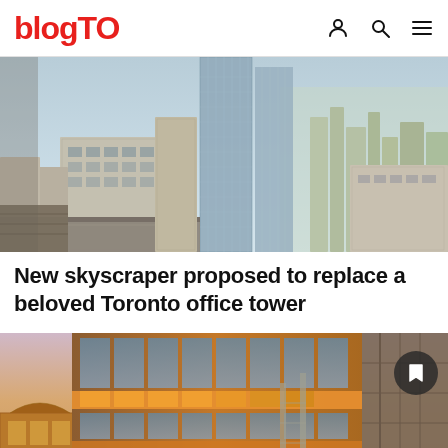blogTO
[Figure (photo): Aerial view of Toronto downtown skyline with skyscrapers and city streets]
New skyscraper proposed to replace a beloved Toronto office tower
[Figure (photo): Close-up architectural rendering of a modern glass and brick building facade at dusk with warm orange lighting]